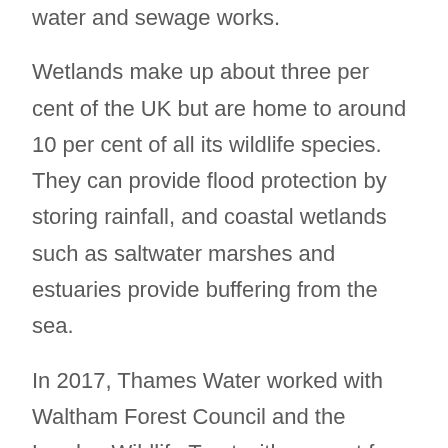water and sewage works.
Wetlands make up about three per cent of the UK but are home to around 10 per cent of all its wildlife species. They can provide flood protection by storing rainfall, and coastal wetlands such as saltwater marshes and estuaries provide buffering from the sea.
In 2017, Thames Water worked with Waltham Forest Council and the London Wildlife Trust with support from the National Lottery Heritage Fund to open Walthamstow Wetlands. The Thames Water operational site in North London, provides 3.5 million people with their daily drinking water and is a popular site for anglers and walkers.
Since it opened Walthamstow Wetlands has been visited more than a million times, has become a haven for all